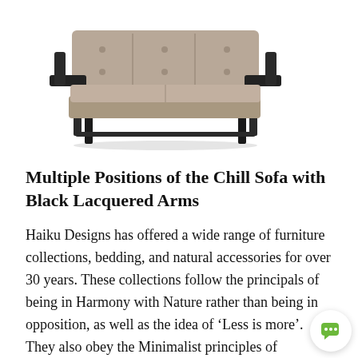[Figure (photo): A mid-century modern sofa/sofabed with tufted gray upholstery and black lacquered wooden arms and legs, viewed in a three-quarter perspective against a white background.]
Multiple Positions of the Chill Sofa with Black Lacquered Arms
Haiku Designs has offered a wide range of furniture collections, bedding, and natural accessories for over 30 years. These collections follow the principals of being in Harmony with Nature rather than being in opposition, as well as the idea of 'Less is more'. They also obey the Minimalist principles of simplifying space and the absence of extra adornments. Our SoHo Platform Bed and Bedroom Furniture collection